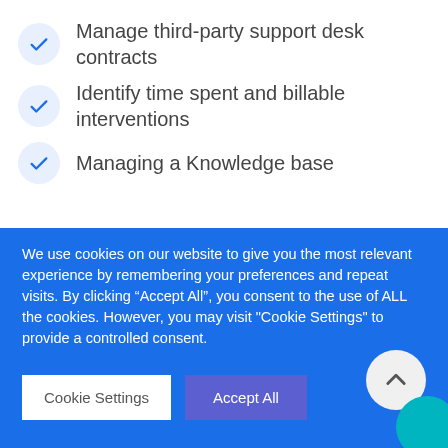Manage third-party support desk contracts
Identify time spent and billable interventions
Managing a Knowledge base
What are your Asset Management needs for
We use cookies on our website to give you the most relevant experience by remembering your preferences and repeat visits. By clicking “Accept All”, you consent to the use of ALL the cookies. However, you may visit “Cookie Settings” to provide a controlled consent.